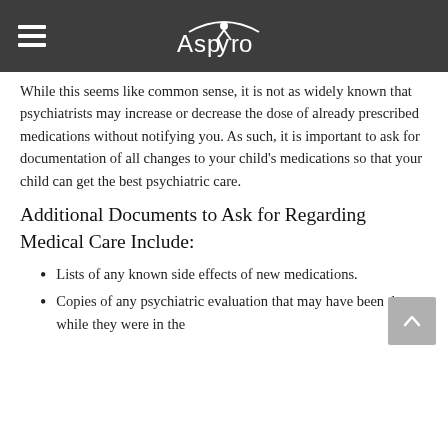Aspyro
While this seems like common sense, it is not as widely known that psychiatrists may increase or decrease the dose of already prescribed medications without notifying you. As such, it is important to ask for documentation of all changes to your child's medications so that your child can get the best psychiatric care.
Additional Documents to Ask for Regarding Medical Care Include:
Lists of any known side effects of new medications.
Copies of any psychiatric evaluation that may have been done while they were in the